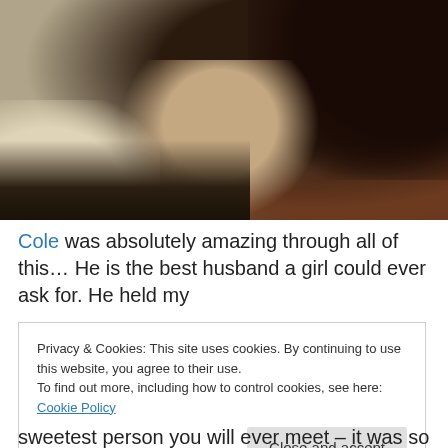[Figure (photo): A person lying down, dark hair visible, wearing a dark top, with beige/tan bedding or blanket around them. Close-up selfie-style photo, grainy/warm tones.]
Cole was absolutely amazing through all of this… He is the best husband a girl could ever ask for. He held my
Privacy & Cookies: This site uses cookies. By continuing to use this website, you agree to their use.
To find out more, including how to control cookies, see here: Cookie Policy
Close and accept
sweetest person you will ever meet – it was so great